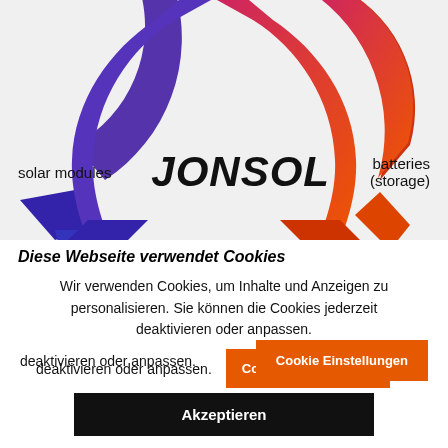[Figure (logo): JONSOL logo with purple and red/orange arc segments on grey background, with 'solar modules' on left and 'batteries (storage)' on right]
Diese Webseite verwendet Cookies
Wir verwenden Cookies, um Inhalte und Anzeigen zu personalisieren. Sie können die Cookies jederzeit deaktivieren oder anpassen.
Cookie Einstellungen
Akzeptieren
Mehr erfahren